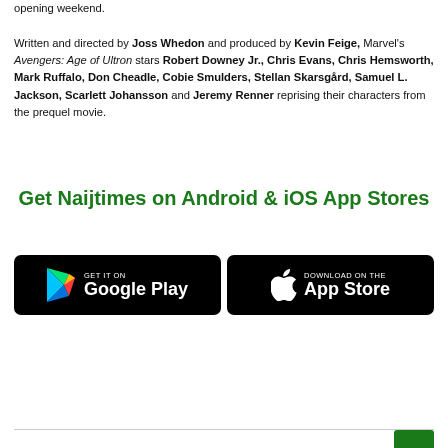opening weekend.

Written and directed by Joss Whedon and produced by Kevin Feige, Marvel's Avengers: Age of Ultron stars Robert Downey Jr., Chris Evans, Chris Hemsworth, Mark Ruffalo, Don Cheadle, Cobie Smulders, Stellan Skarsgård, Samuel L. Jackson, Scarlett Johansson and Jeremy Renner reprising their characters from the prequel movie.
Get Naijtimes on Android & iOS App Stores
[Figure (other): Google Play Store badge - black rounded rectangle with Google Play triangle logo and text 'GET IT ON Google Play']
[Figure (other): Apple App Store badge - black rounded rectangle with Apple logo and text 'Download on the App Store']